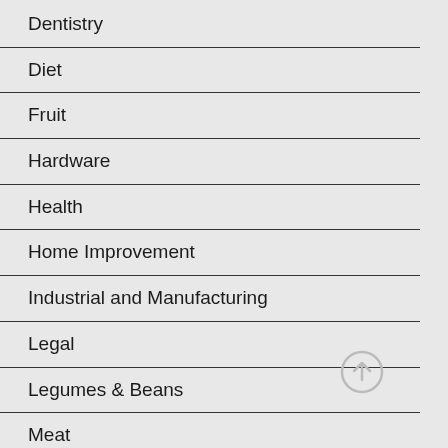Dentistry
Diet
Fruit
Hardware
Health
Home Improvement
Industrial and Manufacturing
Legal
Legumes & Beans
Meat